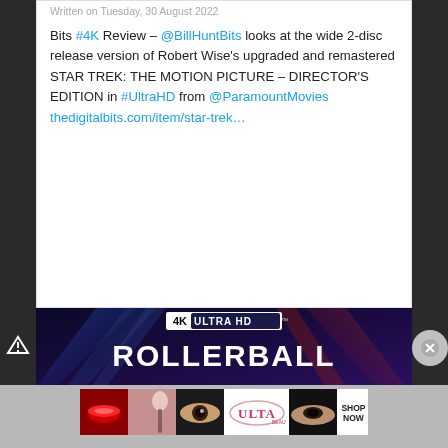Written on Tuesday, 30 August 2022
Bits #4K Review – @BillHuntBits looks at the wide 2-disc release version of Robert Wise's upgraded and remastered STAR TREK: THE MOTION PICTURE – DIRECTOR'S EDITION in #UltraHD from @ParamountMovies thedigitalbits.com/item/star-trek…
[Figure (photo): 4K Ultra HD Rollerball movie cover with dark blue/purple background and laser beams, showing '4K ULTRA HD' logo at top and 'ROLLERBALL' title text in large white letters]
[Figure (photo): ULTA Beauty advertisement banner showing close-ups of makeup/beauty products and faces with text 'SHOP NOW']